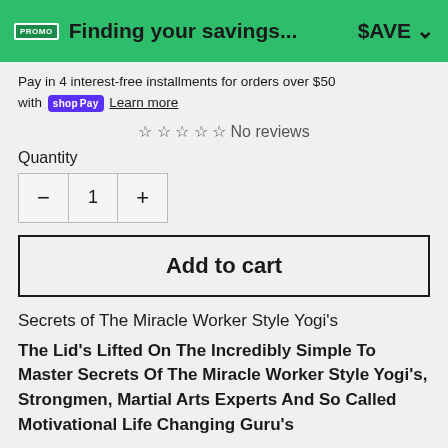Finding your savings... $AVE
Pay in 4 interest-free installments for orders over $50 with shop Pay Learn more
☆ ☆ ☆ ☆ ☆ No reviews
Quantity
− 1 +
Add to cart
Secrets of The Miracle Worker Style Yogi's
The Lid's Lifted On The Incredibly Simple To Master Secrets Of The Miracle Worker Style Yogi's, Strongmen, Martial Arts Experts And So Called Motivational Life Changing Guru's